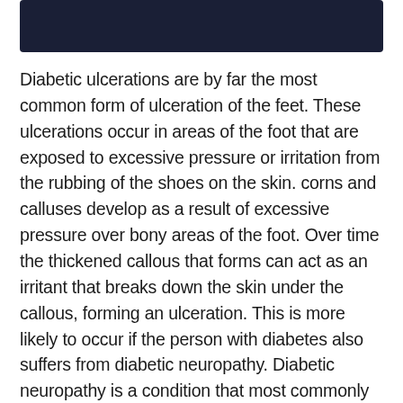[Figure (other): Dark navy/black rectangular header bar at top of page]
Diabetic ulcerations are by far the most common form of ulceration of the feet. These ulcerations occur in areas of the foot that are exposed to excessive pressure or irritation from the rubbing of the shoes on the skin. corns and calluses develop as a result of excessive pressure over bony areas of the foot. Over time the thickened callous that forms can act as an irritant that breaks down the skin under the callous, forming an ulceration. This is more likely to occur if the person with diabetes also suffers from diabetic neuropathy. Diabetic neuropathy is a condition that most commonly affects the nerves of the hands and feet. Diabetic neuropathy causes a loss or alteration in the ability to perceive pain associated with excessive pressure, heat or cold